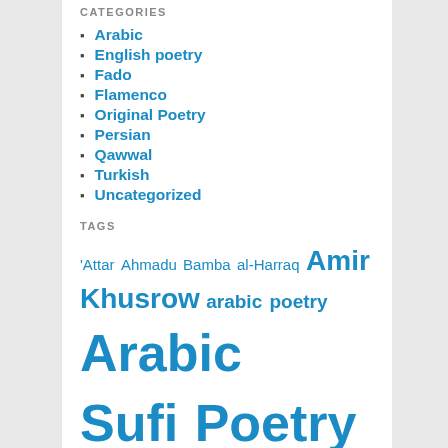CATEGORIES
Arabic
English poetry
Fado
Flamenco
Original Poetry
Persian
Qawwal
Turkish
Uncategorized
TAGS
'Attar Ahmadu Bamba al-Harraq Amir Khusrow arabic poetry Arabic Sufi Poetry Aziz Mian Basho Bob Marley bulleh shah Camaron de la Isla carminho Chinese poetry Cristina Branco Dante